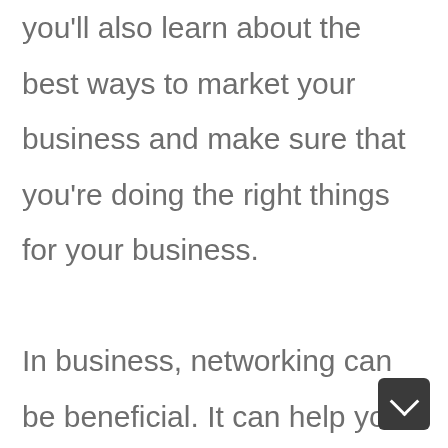you'll also learn about the best ways to market your business and make sure that you're doing the right things for your business.

In business, networking can be beneficial. It can help you expand your knowledge by getting in touch with people with similar interests and goals. For instance, you can learn from people in other industries, and